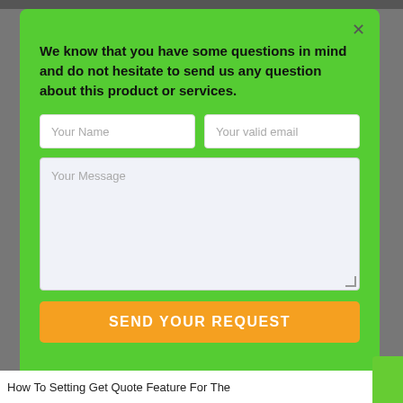We know that you have some questions in mind and do not hesitate to send us any question about this product or services.
Your Name
Your valid email
Your Message
SEND YOUR REQUEST
How To Setting Get Quote Feature For The